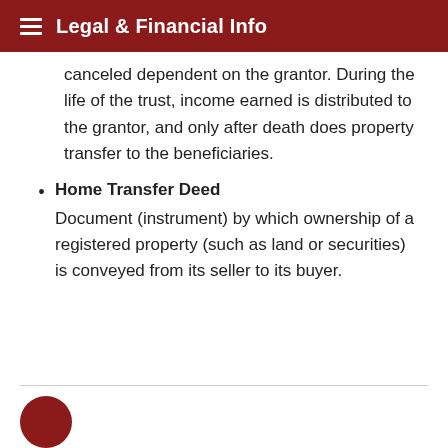Legal & Financial Info
canceled dependent on the grantor. During the life of the trust, income earned is distributed to the grantor, and only after death does property transfer to the beneficiaries.
Home Transfer Deed
Document (instrument) by which ownership of a registered property (such as land or securities) is conveyed from its seller to its buyer.